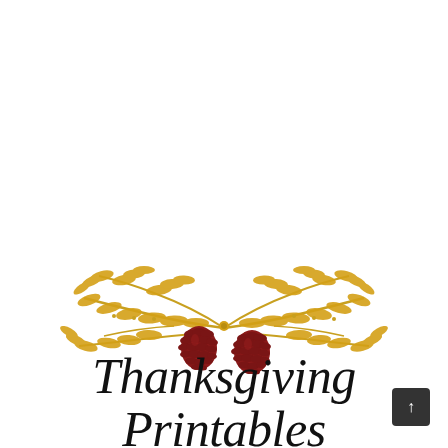[Figure (illustration): Decorative golden laurel/leaf branch arrangement with two dark red pinecones in the center, forming an arc shape typical of Thanksgiving/autumn decorative motifs]
Thanksgiving Printables